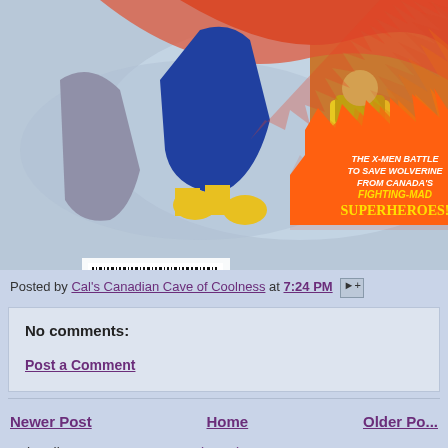[Figure (illustration): Comic book cover showing X-Men characters battling, with text 'The X-Men Battle to Save Wolverine from Canada's Fighting-Mad Superheroes!' and a barcode visible on the left side.]
Posted by Cal's Canadian Cave of Coolness at 7:24 PM
No comments:
Post a Comment
Newer Post
Home
Older Post
Subscribe to: Post Comments (Atom)